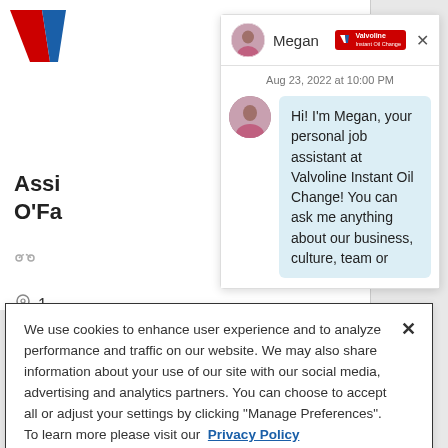[Figure (screenshot): Valvoline website background showing partial job listing text 'Assi O'Fa' with location icons]
[Figure (screenshot): Chat widget with agent named Megan from Valvoline Instant Oil Change. Header shows avatar, name 'Megan', Valvoline brand logo, and X close button. Timestamp: Aug 23, 2022 at 10:00 PM. Chat bubble: 'Hi! I'm Megan, your personal job assistant at Valvoline Instant Oil Change! You can ask me anything about our business, culture, team or']
We use cookies to enhance user experience and to analyze performance and traffic on our website. We may also share information about your use of our site with our social media, advertising and analytics partners. You can choose to accept all or adjust your settings by clicking "Manage Preferences". To learn more please visit our Privacy Policy
Manage Preferences
Accept Cookies